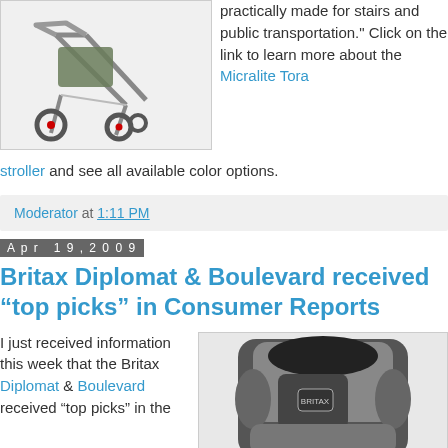[Figure (photo): Photo of a Micralite Tora stroller with large wheels, green/silver frame]
practically made for stairs and public transportation." Click on the link to learn more about the Micralite Tora stroller and see all available color options.
Moderator at 1:11 PM
Apr 19, 2009
Britax Diplomat & Boulevard received “top picks” in Consumer Reports
I just received information this week that the Britax Diplomat & Boulevard received “top picks” in the
[Figure (photo): Photo of a Britax car seat in grey and black]